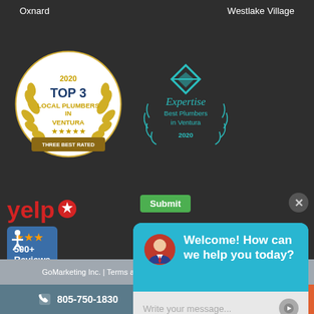Oxnard    Westlake Village
[Figure (logo): Three Best Rated 2020 TOP 3 Local Plumbers in Ventura badge with gold laurel wreath]
[Figure (logo): Expertise Best Plumbers in Ventura 2020 badge with teal laurel wreath and diamond logo]
[Figure (logo): Yelp logo with red burst icon]
[Figure (infographic): Yelp 500+ Reviews badge with orange stars on blue background]
Submit
Welcome! How can we help you today?
Write your message...
© 202
GoMarketing Inc. | Terms and Conditions | Sitemap
805-750-1830    Request Service